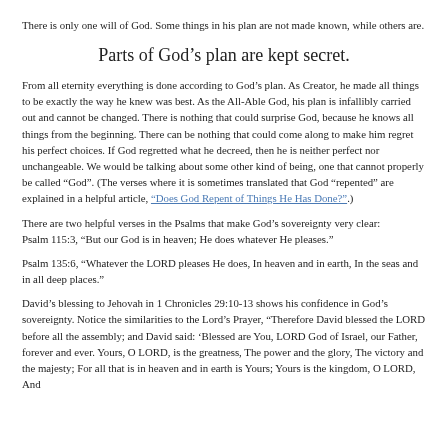There is only one will of God. Some things in his plan are not made known, while others are.
Parts of God’s plan are kept secret.
From all eternity everything is done according to God’s plan. As Creator, he made all things to be exactly the way he knew was best. As the All-Able God, his plan is infallibly carried out and cannot be changed. There is nothing that could surprise God, because he knows all things from the beginning. There can be nothing that could come along to make him regret his perfect choices. If God regretted what he decreed, then he is neither perfect nor unchangeable. We would be talking about some other kind of being, one that cannot properly be called “God”. (The verses where it is sometimes translated that God “repented” are explained in a helpful article, “Does God Repent of Things He Has Done?”.)
There are two helpful verses in the Psalms that make God’s sovereignty very clear:
Psalm 115:3, “But our God is in heaven; He does whatever He pleases.”
Psalm 135:6, “Whatever the LORD pleases He does, In heaven and in earth, In the seas and in all deep places.”
David’s blessing to Jehovah in 1 Chronicles 29:10-13 shows his confidence in God’s sovereignty. Notice the similarities to the Lord’s Prayer, “Therefore David blessed the LORD before all the assembly; and David said: ‘Blessed are You, LORD God of Israel, our Father, forever and ever. Yours, O LORD, is the greatness, The power and the glory, The victory and the majesty; For all that is in heaven and in earth is Yours; Yours is the kingdom, O LORD, And